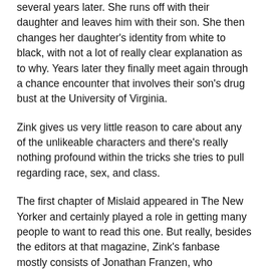several years later. She runs off with their daughter and leaves him with their son. She then changes her daughter's identity from white to black, with not a lot of really clear explanation as to why. Years later they finally meet again through a chance encounter that involves their son's drug bust at the University of Virginia.
Zink gives us very little reason to care about any of the unlikeable characters and there's really nothing profound within the tricks she tries to pull regarding race, sex, and class.
The first chapter of Mislaid appeared in The New Yorker and certainly played a role in getting many people to want to read this one. But really, besides the editors at that magazine, Zink's fanbase mostly consists of Jonathan Franzen, who "discovered" her. I should have known not to read this book based on that information because I really don't want to like (even if I frequently have) Franzen's intellectually stuffed writing either.
My favorite thing about the book, actually, is the excellent